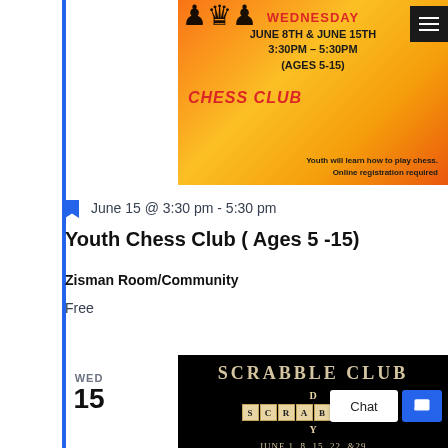[Figure (photo): Chess Club promotional banner with orange/yellow background, chess pieces silhouettes, text reading WEDNESDAY JUNE 8TH & JUNE 15TH 3:30PM - 5:30PM (AGES 5-15) CHESS CLUB. Youth will learn how to play chess. Online registration required.]
June 15 @ 3:30 pm - 5:30 pm
Youth Chess Club ( Ages 5 -15)
Zisman Room/Community
Free
WED 15
[Figure (photo): Scrabble Club promotional image with black background, gold serif text SCRABBLE CLUB, scrabble tiles spelling D / SCRABBLE / Y, text JUNE 1, 8, 15, 22, & 29 6:30-7:30 PM]